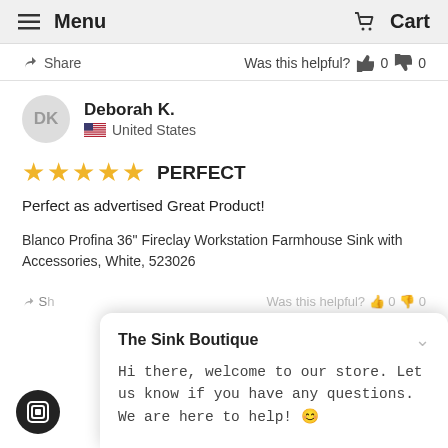≡ Menu  🛒 Cart
↗ Share   Was this helpful? 👍 0 👎 0
DK   Deborah K.   United States
★★★★★  PERFECT
Perfect as advertised Great Product!
Blanco Profina 36" Fireclay Workstation Farmhouse Sink with Accessories, White, 523026
The Sink Boutique
Hi there, welcome to our store. Let us know if you have any questions. We are here to help! 😊